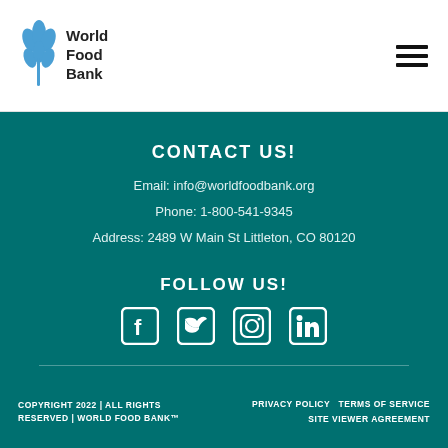[Figure (logo): World Food Bank logo with wheat leaf icon and text 'World Food Bank']
[Figure (other): Hamburger menu icon (three horizontal lines)]
CONTACT US!
Email: info@worldfoodbank.org
Phone: 1-800-541-9345
Address: 2489 W Main St Littleton, CO 80120
FOLLOW US!
[Figure (illustration): Social media icons: Facebook, Twitter, Instagram, LinkedIn]
COPYRIGHT 2022 | ALL RIGHTS RESERVED | WORLD FOOD BANK™
PRIVACY POLICY    TERMS OF SERVICE    SITE VIEWER AGREEMENT